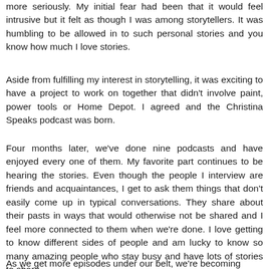more seriously. My initial fear had been that it would feel intrusive but it felt as though I was among storytellers. It was humbling to be allowed in to such personal stories and you know how much I love stories.
Aside from fulfilling my interest in storytelling, it was exciting to have a project to work on together that didn't involve paint, power tools or Home Depot. I agreed and the Christina Speaks podcast was born.
Four months later, we've done nine podcasts and have enjoyed every one of them. My favorite part continues to be hearing the stories. Even though the people I interview are friends and acquaintances, I get to ask them things that don't easily come up in typical conversations. They share about their pasts in ways that would otherwise not be shared and I feel more connected to them when we're done. I love getting to know different sides of people and am lucky to know so many amazing people who stay busy and have lots of stories to share.
As we get more episodes under our belt, we're becoming